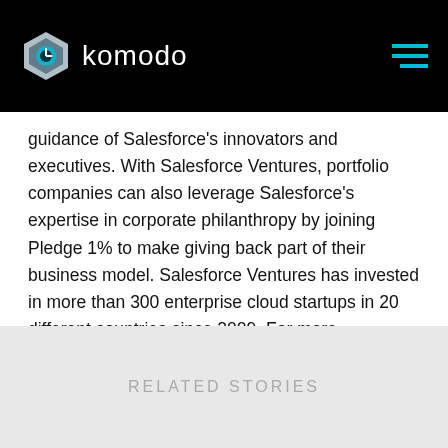komodo
guidance of Salesforce’s innovators and executives. With Salesforce Ventures, portfolio companies can also leverage Salesforce’s expertise in corporate philanthropy by joining Pledge 1% to make giving back part of their business model. Salesforce Ventures has invested in more than 300 enterprise cloud startups in 20 different countries since 2009. For more information, please visit www.salesforce.com/ventures.
RELATED STORIES